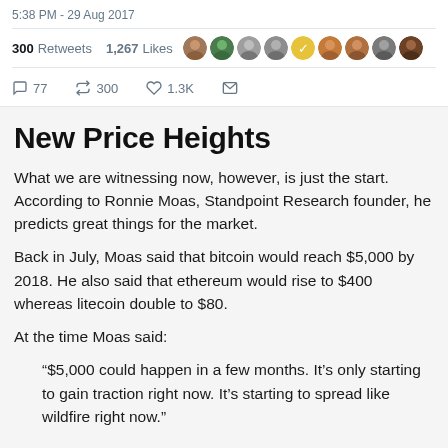5:38 PM - 29 Aug 2017
300 Retweets   1,267 Likes
77   300   1.3K
New Price Heights
What we are witnessing now, however, is just the start. According to Ronnie Moas, Standpoint Research founder, he predicts great things for the market.
Back in July, Moas said that bitcoin would reach $5,000 by 2018. He also said that ethereum would rise to $400 whereas litecoin double to $80.
At the time Moas said:
“$5,000 could happen in a few months. It’s only starting to gain traction right now. It’s starting to spread like wildfire right now.”